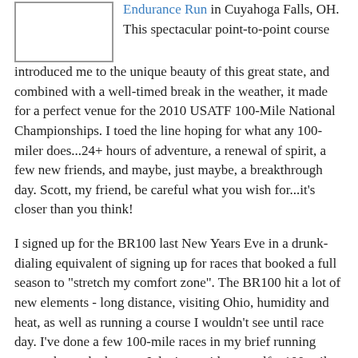[Figure (other): Small rectangular image placeholder, white background with grey border]
Endurance Run in Cuyahoga Falls, OH. This spectacular point-to-point course introduced me to the unique beauty of this great state, and combined with a well-timed break in the weather, it made for a perfect venue for the 2010 USATF 100-Mile National Championships. I toed the line hoping for what any 100-miler does...24+ hours of adventure, a renewal of spirit, a few new friends, and maybe, just maybe, a breakthrough day. Scott, my friend, be careful what you wish for...it's closer than you think!
I signed up for the BR100 last New Years Eve in a drunk-dialing equivalent of signing up for races that booked a full season to "stretch my comfort zone". The BR100 hit a lot of new elements - long distance, visiting Ohio, humidity and heat, as well as running a course I wouldn't see until race day. I've done a few 100-mile races in my brief running career, but to be honest, I don't consider myself a 100-mile runner. That's a special kind of crazy even amongst us lunatics. But like the other 260 entrants, I aspire to be among them even if only for a day.
We gathered at Squire Castle for the 5am send off, singing...